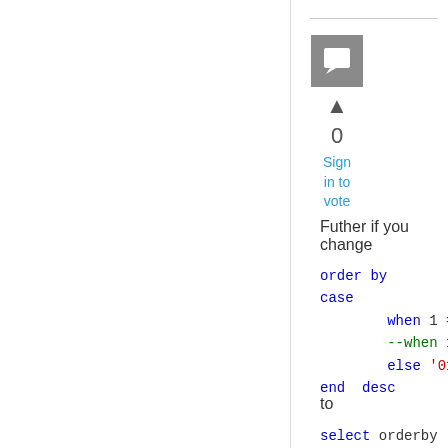[Figure (other): Comment/chat icon box in grey]
0
Sign in to vote
Futher if you change
order by
case
    when 1 = @num2 then (selec
    --when 1 = @num2 then '1/1/2
    else '01/01/1753'
end  desc
to
select orderby